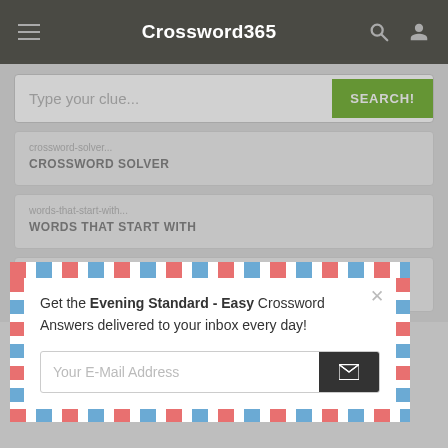Crossword365
[Figure (screenshot): Search input box with placeholder 'Type your clue...' and a green SEARCH! button]
CROSSWORD SOLVER
WORDS THAT START WITH
WORDS THAT END WITH
[Figure (screenshot): Airmail-style popup dialog with text: Get the Evening Standard - Easy Crossword Answers delivered to your inbox every day! With an email input field and a dark send button.]